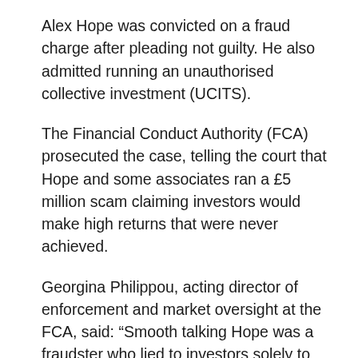Alex Hope was convicted on a fraud charge after pleading not guilty. He also admitted running an unauthorised collective investment (UCITS).
The Financial Conduct Authority (FCA) prosecuted the case, telling the court that Hope and some associates ran a £5 million scam claiming investors would make high returns that were never achieved.
Georgina Philippou, acting director of enforcement and market oversight at the FCA, said: “Smooth talking Hope was a fraudster who lied to investors solely to part them from their money.